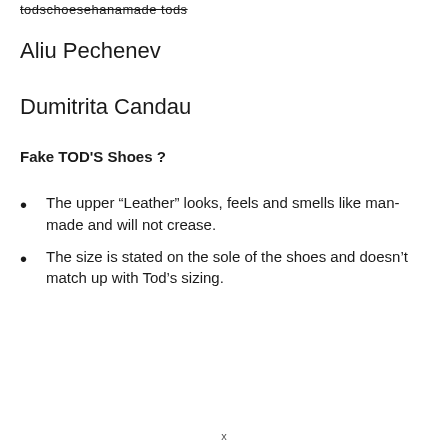todschoesehanamade tods
Aliu Pechenev
Dumitrita Candau
Fake TOD'S Shoes ?
The upper “Leather” looks, feels and smells like man-made and will not crease.
The size is stated on the sole of the shoes and doesn’t match up with Tod’s sizing.
x